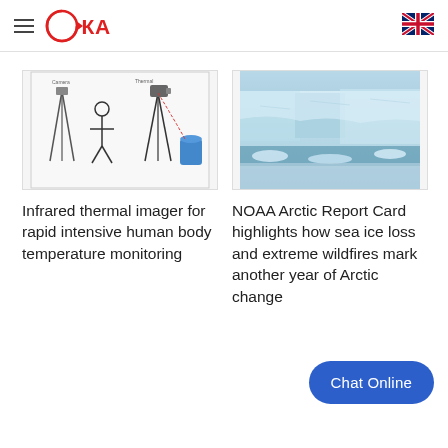ЭIKA (logo) — navigation header with hamburger menu and UK flag
[Figure (illustration): Infrared thermal imager on tripod setup diagram showing equipment configuration]
Infrared thermal imager for rapid intensive human body temperature monitoring
[Figure (photo): Arctic ice/glacier scene with blue-white ice and water]
NOAA Arctic Report Card highlights how sea ice loss and extreme wildfires mark another year of Arctic change